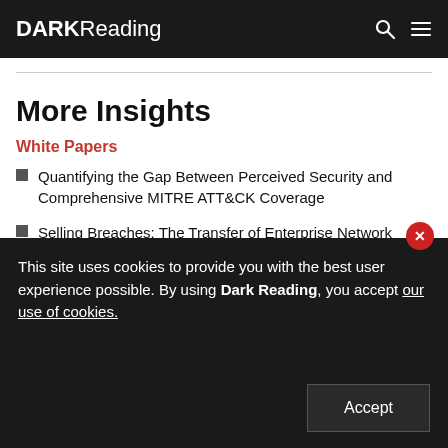DARK Reading
More Insights
White Papers
Quantifying the Gap Between Perceived Security and Comprehensive MITRE ATT&CK Coverage
Selling Breaches: The Transfer of Enterprise Network
This site uses cookies to provide you with the best user experience possible. By using Dark Reading, you accept our use of cookies.